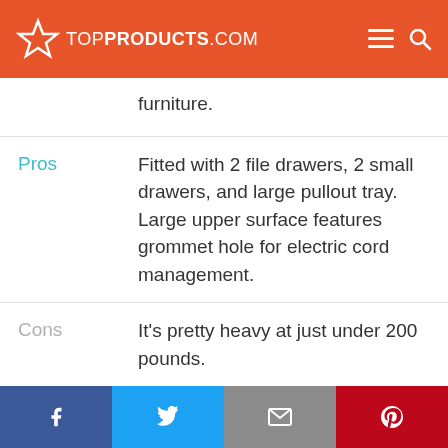TOPPRODUCTS.COM
furniture.
Pros
Fitted with 2 file drawers, 2 small drawers, and large pullout tray. Large upper surface features grommet hole for electric cord management.
Cons
It's pretty heavy at just under 200 pounds.
Facebook | Twitter | Email | Pinterest